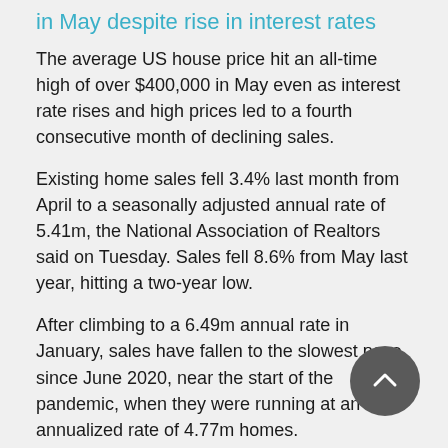in May despite rise in interest rates
The average US house price hit an all-time high of over $400,000 in May even as interest rate rises and high prices led to a fourth consecutive month of declining sales.
Existing home sales fell 3.4% last month from April to a seasonally adjusted annual rate of 5.41m, the National Association of Realtors said on Tuesday. Sales fell 8.6% from May last year, hitting a two-year low.
After climbing to a 6.49m annual rate in January, sales have fallen to the slowest pace since June 2020, near the start of the pandemic, when they were running at an annualized rate of 4.77m homes.